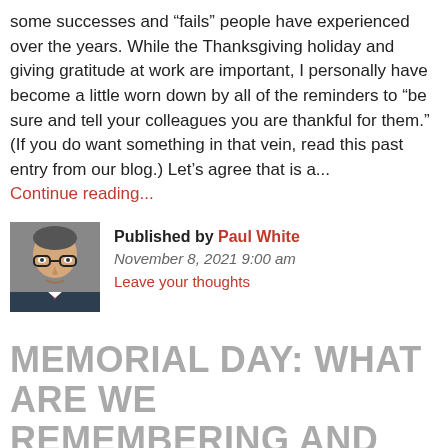some successes and “fails” people have experienced over the years. While the Thanksgiving holiday and giving gratitude at work are important, I personally have become a little worn down by all of the reminders to “be sure and tell your colleagues you are thankful for them.” (If you do want something in that vein, read this past entry from our blog.) Let’s agree that is a...
Continue reading...
Published by Paul White
November 8, 2021 9:00 am
Leave your thoughts
MEMORIAL DAY: WHAT ARE WE REMEMBERING AND WHY?
Memorial Day in the U.S. represents a variety of things to different people: A day off of work The beginning of summer Going to the lake Having a barbeque with friends and family The